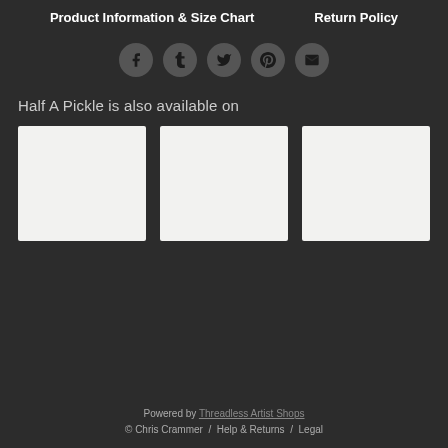Product Information & Size Chart    Return Policy
[Figure (infographic): Five social media icon buttons in circles: Facebook, Tumblr, Twitter, Pinterest, Email]
Half A Pickle is also available on
[Figure (infographic): Three white/light gray product thumbnail placeholder boxes in a row]
Powered by Threadless Artist Shops
© Chris Crammer  /  Help & Returns  /  Legal